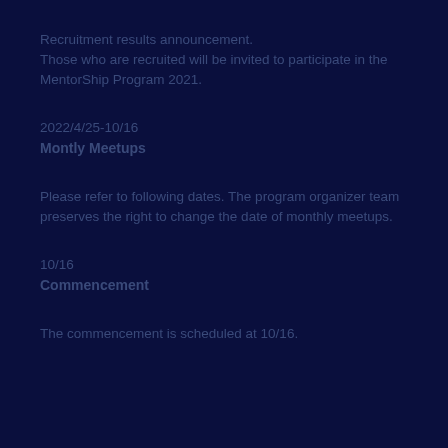Recruitment results announcement. Those who are recruited will be invited to participate in the MentorShip Program 2021.
2022/4/25-10/16
Montly Meetups
Please refer to following dates. The program organizer team preserves the right to change the date of monthly meetups.
10/16
Commencement
The commencement is scheduled at 10/16.